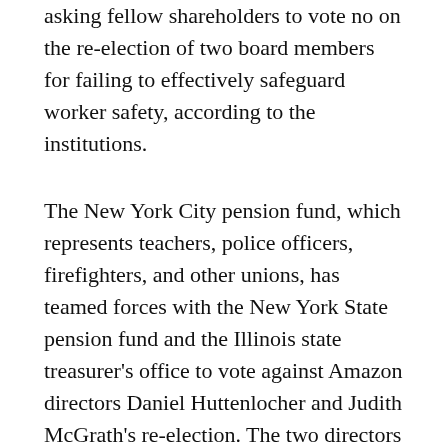asking fellow shareholders to vote no on the re-election of two board members for failing to effectively safeguard worker safety, according to the institutions.
The New York City pension fund, which represents teachers, police officers, firefighters, and other unions, has teamed forces with the New York State pension fund and the Illinois state treasurer's office to vote against Amazon directors Daniel Huttenlocher and Judith McGrath's re-election. The two directors are members of an Amazon board committee that monitors leadership development.
New York City Comptroller Brad Lander, a